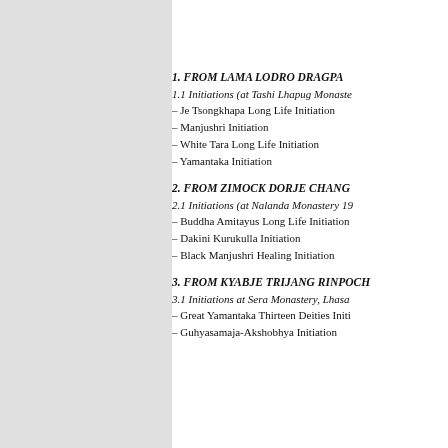1. FROM LAMA LODRO DRAGPA
1.1 Initiations (at Tashi Lhapug Monastery…
– Je Tsongkhapa Long Life Initiation
– Manjushri Initiation
– White Tara Long Life Initiation
– Yamantaka Initiation
2. FROM ZIMOCK DORJE CHANG
2.1 Initiations (at Nalanda Monastery 19…
– Buddha Amitayus Long Life Initiation
– Dakini Kurukulla Initiation
– Black Manjushri Healing Initiation
3. FROM KYABJE TRIJANG RINPOCH…
3.1 Initiations at Sera Monastery, Lhasa…
– Great Yamantaka Thirteen Deities Initi…
– Guhyasamaja-Akshobhya Initiation